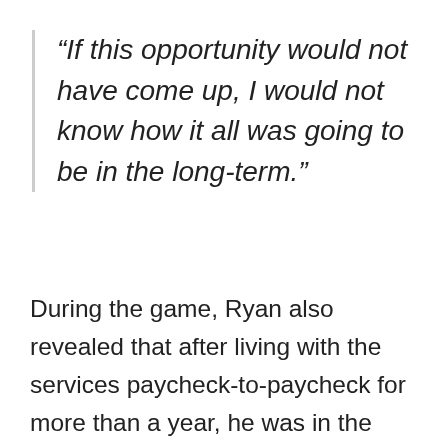“If this opportunity would not have come up, I would not know how it all was going to be in the long-term.”
During the game, Ryan also revealed that after living with the services paycheck-to-paycheck for more than a year, he was in the need of affording himself the tickets to California. He was only left with two dresses in his hands and